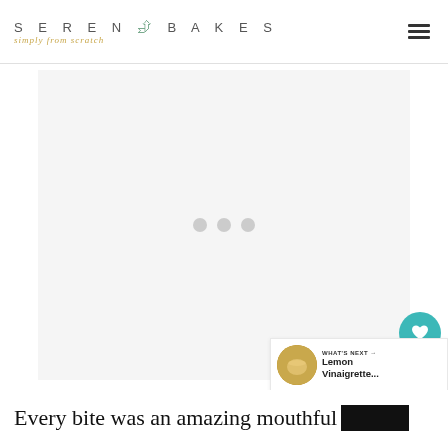SERENA BAKES simply from scratch
[Figure (other): Advertisement placeholder area with three loading dots]
[Figure (other): Social interaction buttons: heart/like button (teal circle), count of 1, and share button]
[Figure (other): What's Next banner showing a small thumbnail of a jar with olive oil and text 'WHAT'S NEXT → Lemon Vinaigrette...']
Every bite was an amazing mouthful